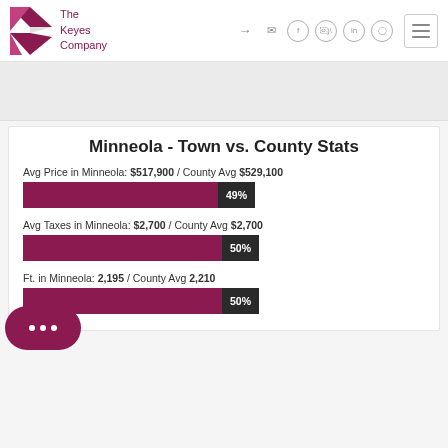[Figure (logo): The Keyes Company logo with maroon K graphic and text]
Minneola - Town vs. County Stats
Avg Price in Minneola: $517,900 / County Avg $529,100
[Figure (bar-chart): Avg Price]
Avg Taxes in Minneola: $2,700 / County Avg $2,700
[Figure (bar-chart): Avg Taxes]
Ft. in Minneola: 2,195 / County Avg 2,210
[Figure (bar-chart): Avg Sq Ft]